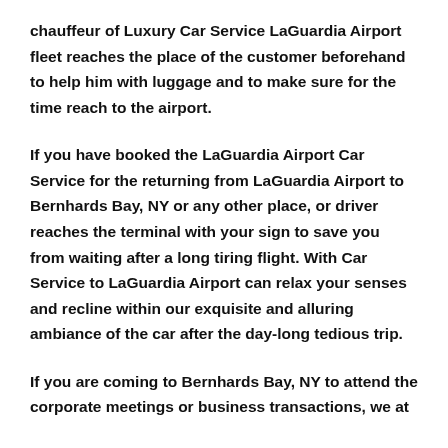chauffeur of Luxury Car Service LaGuardia Airport fleet reaches the place of the customer beforehand to help him with luggage and to make sure for the time reach to the airport.
If you have booked the LaGuardia Airport Car Service for the returning from LaGuardia Airport to Bernhards Bay, NY or any other place, or driver reaches the terminal with your sign to save you from waiting after a long tiring flight. With Car Service to LaGuardia Airport can relax your senses and recline within our exquisite and alluring ambiance of the car after the day-long tedious trip.
If you are coming to Bernhards Bay, NY to attend the corporate meetings or business transactions, we at